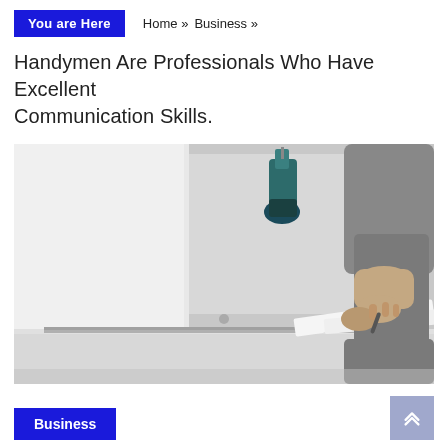You are Here  Home » Business »
Handymen Are Professionals Who Have Excellent Communication Skills.
[Figure (photo): A handyman in grey clothing assembling furniture or cabinetry, with a teal/blue cordless drill visible in the background on a shelf. The man's hands are gripping a white panel or drawer front.]
Business